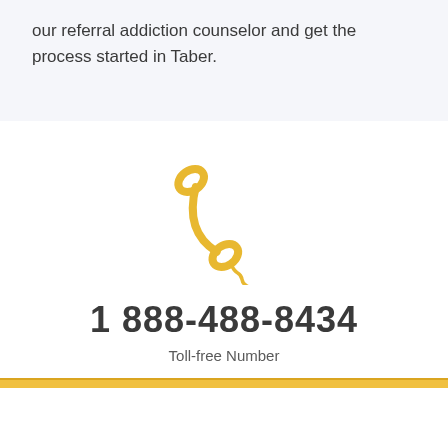our referral addiction counselor and get the process started in Taber.
[Figure (illustration): Gold/yellow telephone handset icon with coiled cord hanging down]
1 888-488-8434
Toll-free Number